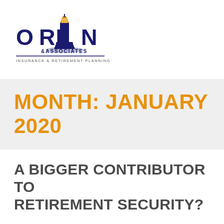[Figure (logo): ORFIN & ASSOCIATES Insurance & Retirement Planning logo with lighthouse]
MONTH: JANUARY 2020
A BIGGER CONTRIBUTOR TO RETIREMENT SECURITY?